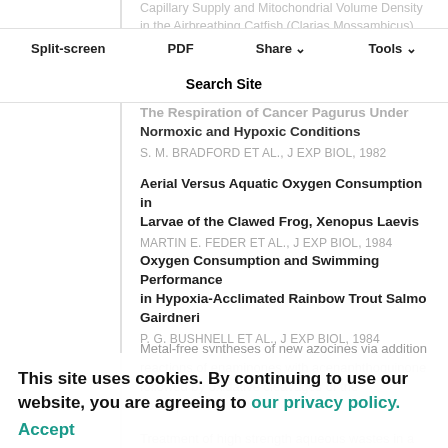Split-screen | PDF | Share | Tools
Search Site
Capillary Supply and Mitochondrial Volume Density in the Airbreathing Catfish (Clarias Mossambicus) Acclimated to Either Aerated or Hypoxic Water
The Respiration of Cancer Pagurus Under Normoxic and Hypoxic Conditions
S. M. BRADFORD et al., J Exp Biol, 1982
Aerial Versus Aquatic Oxygen Consumption in Larvae of the Clawed Frog, Xenopus Laevis
MARTIN E. FEDER et al., J Exp Biol, 1984
Oxygen Consumption and Swimming Performance in Hypoxia-Acclimated Rainbow Trout Salmo Gairdneri
P. G. BUSHNELL et al., J Exp Biol, 1984
Metal-free syntheses of new azocines via addition reactions of enaminones with acenaphthoquinone followed by oxidative cleavages of the corresponding vicinal diols
Treatment of high strength aqueous wastes in a
This site uses cookies. By continuing to use our website, you are agreeing to our privacy policy. Accept